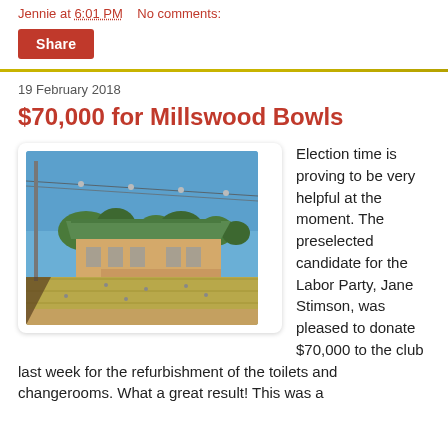Jennie at 6:01 PM   No comments:
Share
19 February 2018
$70,000 for Millswood Bowls
[Figure (photo): Outdoor lawn bowls facility with a green-roofed clubhouse in the background, green bowling rinks, clear blue sky, and overhead wires with lights.]
Election time is proving to be very helpful at the moment. The preselected candidate for the Labor Party, Jane Stimson, was pleased to donate $70,000 to the club last week for the refurbishment of the toilets and changerooms. What a great result! This was a